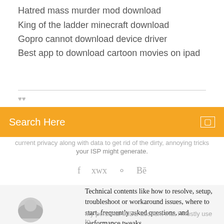Hatred mass murder mod download
King of the ladder minecraft download
Gopro cannot download device driver
Best app to download cartoon movies on ipad
your ISP might generate.
Search Here
Technical contents like how to resolve, setup, troubleshoot or workaround issues, where to start, frequently asked questions, and performance tweaks..
My personal IMDB account that I mostly use to